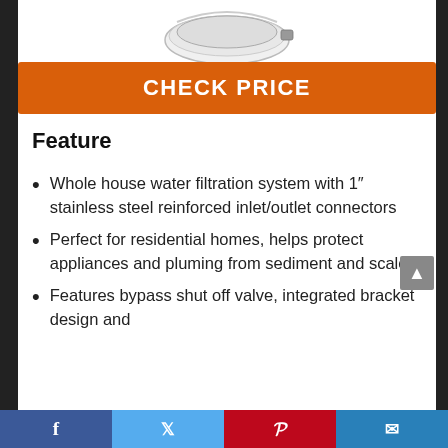[Figure (photo): Partial product image of a whole house water filtration system, circular/disc shape, shown at top of page]
CHECK PRICE
Feature
Whole house water filtration system with 1″ stainless steel reinforced inlet/outlet connectors
Perfect for residential homes, helps protect appliances and pluming from sediment and scale
Features bypass shut off valve, integrated bracket design and
Facebook | Twitter | Pinterest | Email